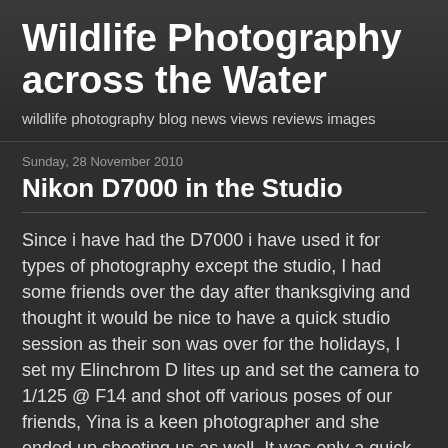Wildlife Photography across the Water
wildlife photography blog news views reviews images
Sunday, 28 November 2010
Nikon D7000 in the Studio
Since i have had the D7000 i have used it for types of photography except the studio, I had some friends over the day after thanksgiving and thought it would be nice to have a quick studio session as their son was over for the holidays, I set my Elinchrom D lites up and set the camera to 1/125 @ F14 and shot off various poses of our friends, Yina is a keen photographer and she ended up shooting us as well, It was only a quick session but fun which is how it should be, I normally shoot the D3s in the studio but the images from the D7000 came out very well, Nico and sharp with lots of detail